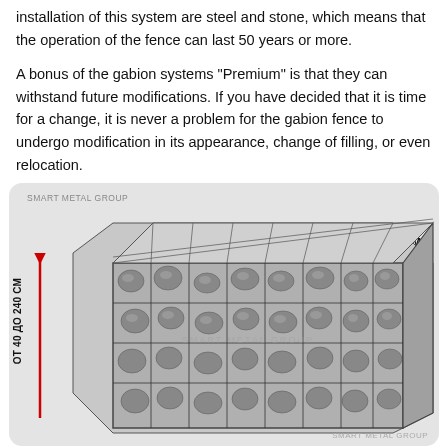installation of this system are steel and stone, which means that the operation of the fence can last 50 years or more.
A bonus of the gabion systems "Premium" is that they can withstand future modifications. If you have decided that it is time for a change, it is never a problem for the gabion fence to undergo modification in its appearance, change of filling, or even relocation.
[Figure (engineering-diagram): 3D diagram of a gabion fence system showing wire mesh cage filled with stones. Labels indicate thickness ДЕБЕЛИНА ОТ 20 ДО 40 СМ (from 20 to 40 cm) with a horizontal red double-headed arrow, and height ОТ 40 ДО 240 СМ (from 40 to 240 cm) with a vertical red arrow. Watermark reads SMART METAL GROUP.]